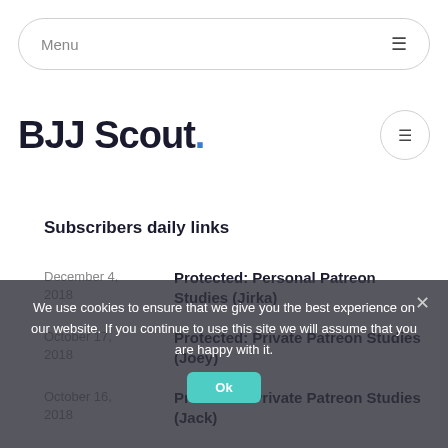Menu
BJJ Scout.
Subscribers daily links
December 4, 2018 — Protected: Personal Patreon Studies (Jirka)
October 17, 2018 — Protected: Private Patreon Studies (Joey)
October 16, 2018 — Protected: Private Patreon Studies (Jack)
We use cookies to ensure that we give you the best experience on our website. If you continue to use this site we will assume that you are happy with it.